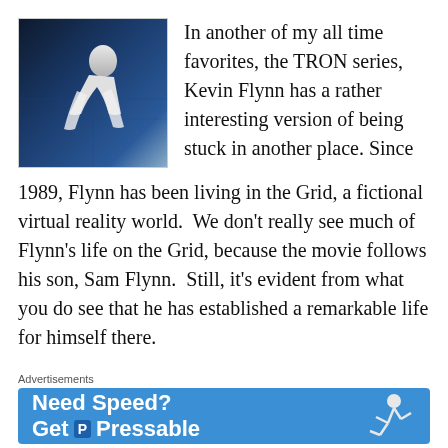[Figure (photo): A man in a white outfit leaning forward in a dark blue-lit environment, from the TRON movie series.]
In another of my all time favorites, the TRON series, Kevin Flynn has a rather interesting version of being stuck in another place. Since 1989, Flynn has been living in the Grid, a fictional virtual reality world.  We don't really see much of Flynn's life on the Grid, because the movie follows his son, Sam Flynn.  Still, it's evident from what you do see that he has established a remarkable life for himself there.
Advertisements
[Figure (screenshot): Blue advertisement banner reading 'Need Speed? Get P Pressable' with an illustration of a person running/flying.]